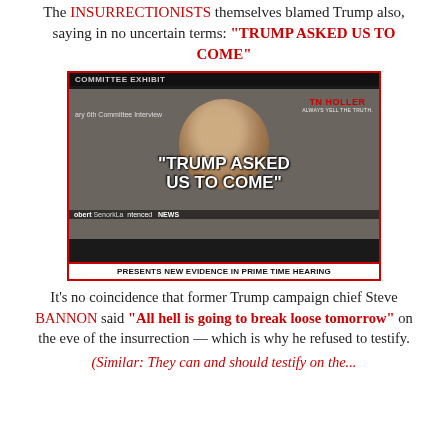The INSURRECTIONISTS themselves blamed Trump also, saying in no uncertain terms: “TRUMP ASKED US TO COME”
[Figure (screenshot): Screenshot from TN Holler showing a bald man in a January 6th Committee Interview, with overlay text reading “TRUMP ASKED US TO COME” and a bottom headline: PRESENTS NEW EVIDENCE IN PRIME TIME HEARING]
It’s no coincidence that former Trump campaign chief Steve BANNON said “All hell is going to break loose tomorrow” on the eve of the insurrection — which is why he refused to testify.
(Similar: They can and should testify on the...